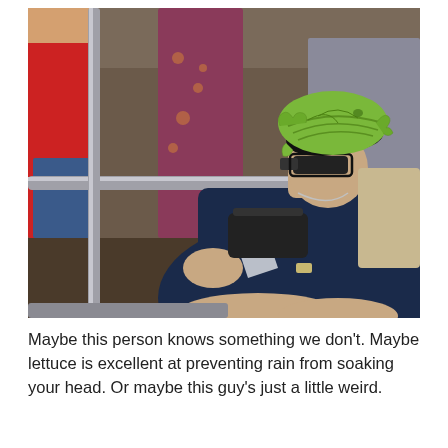[Figure (photo): A person sitting on a subway train wearing a large green cabbage or lettuce leaf on their head like a hat, along with dark sunglasses and a navy blue outfit. Other passengers are visible standing and sitting in the background of the crowded subway car.]
Maybe this person knows something we don't. Maybe lettuce is excellent at preventing rain from soaking your head. Or maybe this guy's just a little weird.